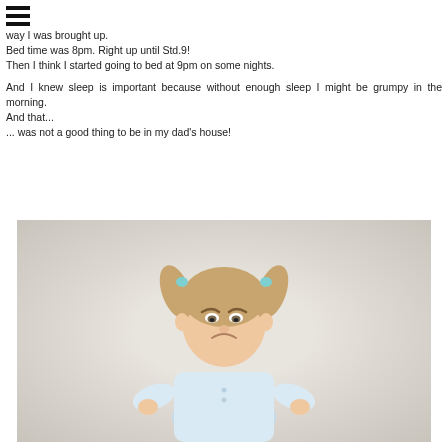[Figure (other): Hamburger menu icon (three horizontal bars) in top left corner]
way I was brought up.
Bed time was 8pm. Right up until Std.9!
Then I think I started going to bed at 9pm on some nights.

And I knew sleep is important because without enough sleep I might be grumpy in the morning.
And that...
... was not a good thing to be in my dad's house!
[Figure (photo): A young girl with two pigtails tied with blue hair ties, wearing a light blue t-shirt, standing with hands on hips looking grumpy or angry, against a light grey background.]